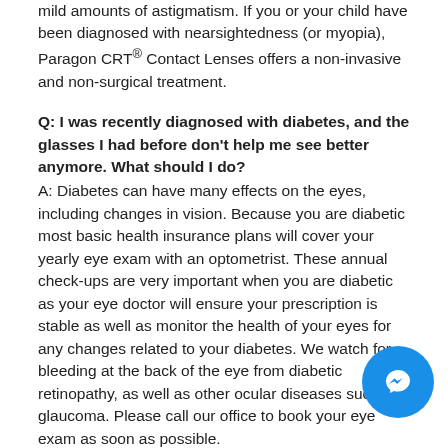mild amounts of astigmatism. If you or your child have been diagnosed with nearsightedness (or myopia), Paragon CRT® Contact Lenses offers a non-invasive and non-surgical treatment.
Q: I was recently diagnosed with diabetes, and the glasses I had before don't help me see better anymore. What should I do?
A: Diabetes can have many effects on the eyes, including changes in vision. Because you are diabetic most basic health insurance plans will cover your yearly eye exam with an optometrist. These annual check-ups are very important when you are diabetic as your eye doctor will ensure your prescription is stable as well as monitor the health of your eyes for any changes related to your diabetes. We watch for bleeding at the back of the eye from diabetic retinopathy, as well as other ocular diseases such as glaucoma. Please call our office to book your eye exam as soon as possible.
Q: What is diabetic retinopathy?
A: Diabetic retinopathy (DR) is an eye disease that can occur at any stage and with any type of diabetes. In fact, sometimes